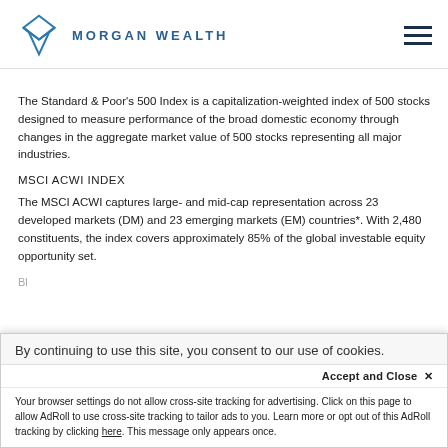MORGAN WEALTH
The Standard & Poor's 500 Index is a capitalization-weighted index of 500 stocks designed to measure performance of the broad domestic economy through changes in the aggregate market value of 500 stocks representing all major industries.
MSCI ACWI INDEX
The MSCI ACWI captures large- and mid-cap representation across 23 developed markets (DM) and 23 emerging markets (EM) countries*. With 2,480 constituents, the index covers approximately 85% of the global investable equity opportunity set.
By continuing to use this site, you consent to our use of cookies.
Accept and Close ✕
Your browser settings do not allow cross-site tracking for advertising. Click on this page to allow AdRoll to use cross-site tracking to tailor ads to you. Learn more or opt out of this AdRoll tracking by clicking here. This message only appears once.